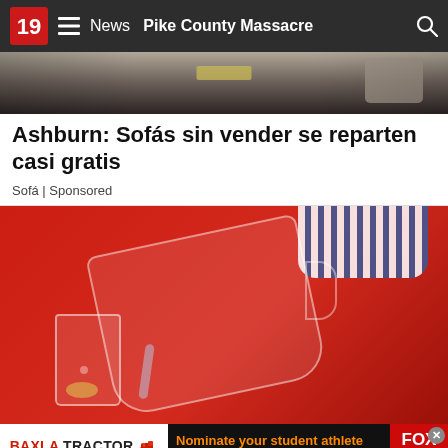News   Pike County Massacre
[Figure (photo): Partial view of a dark couch/sofa with pillows]
Ashburn: Sofás sin vender se reparten casi gratis
Sofá | Sponsored
[Figure (photo): Person in red sweater pouring water from a glass pitcher into a glass]
[Figure (infographic): Baxla Tractor Athlete of the Month banner ad — Nominate your student athlete for a chance to win! Fox 19 Now]